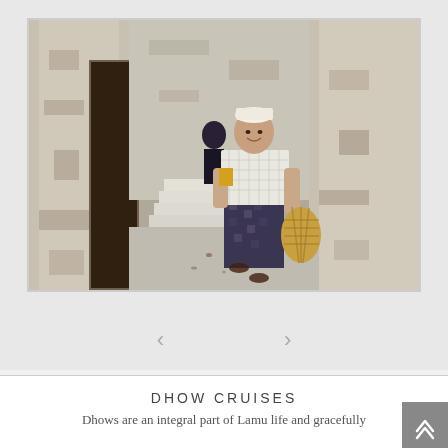[Figure (photo): A man in a white shirt, patterned skirt, and white cap walks through a narrow alley with white stone walls and steps, carrying a woven basket. The setting appears to be Lamu, Kenya.]
DHOW CRUISES
Dhows are an integral part of Lamu life and gracefully